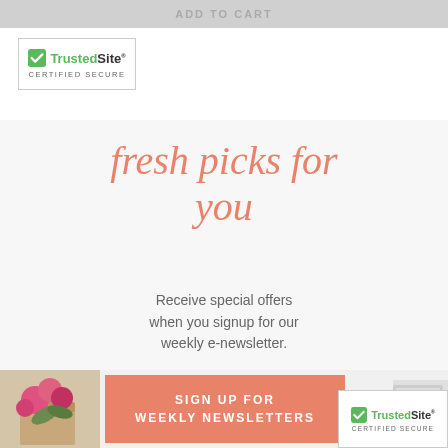ADD TO CART
[Figure (logo): TrustedSite Certified Secure badge, top left]
fresh picks for you
Receive special offers when you signup for our weekly e-newsletter.
SIGN UP FOR WEEKLY NEWSLETTERS
[Figure (photo): Pink flowers in a bag on the left side]
[Figure (photo): Laptop partially visible on the right side]
[Figure (logo): TrustedSite Certified Secure badge, bottom right]